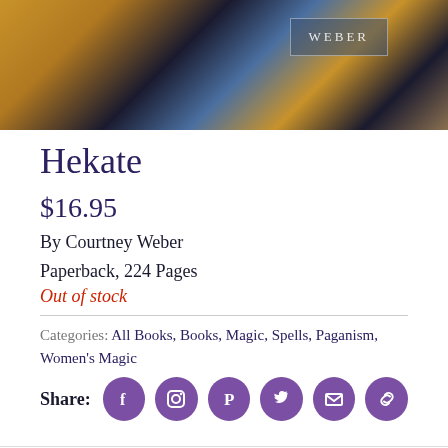[Figure (photo): Product photo showing a dark teal/slate book with WEBER text on cover, surrounded by brown paper packages and dark stones]
Hekate
$16.95
By Courtney Weber
Paperback, 224 Pages
Out of stock
Categories: All Books, Books, Magic, Spells, Paganism, Women's Magic
Share: